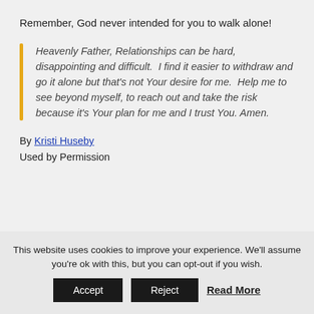Remember, God never intended for you to walk alone!
Heavenly Father, Relationships can be hard, disappointing and difficult. I find it easier to withdraw and go it alone but that's not Your desire for me. Help me to see beyond myself, to reach out and take the risk because it's Your plan for me and I trust You. Amen.
By Kristi Huseby
Used by Permission
This website uses cookies to improve your experience. We'll assume you're ok with this, but you can opt-out if you wish. Accept Reject Read More